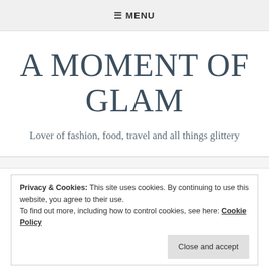≡ MENU
A MOMENT OF GLAM
Lover of fashion, food, travel and all things glittery
Privacy & Cookies: This site uses cookies. By continuing to use this website, you agree to their use.
To find out more, including how to control cookies, see here: Cookie Policy
Close and accept
Fashion Friday OOTD